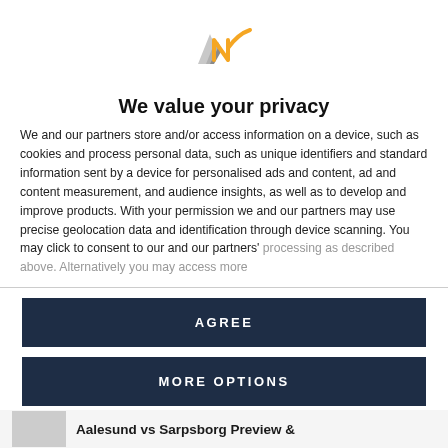[Figure (logo): Orange and grey stylized 'N' with checkmark logo]
We value your privacy
We and our partners store and/or access information on a device, such as cookies and process personal data, such as unique identifiers and standard information sent by a device for personalised ads and content, ad and content measurement, and audience insights, as well as to develop and improve products. With your permission we and our partners may use precise geolocation data and identification through device scanning. You may click to consent to our and our partners' processing as described above. Alternatively you may access more
AGREE
MORE OPTIONS
Aalesund vs Sarpsborg Preview &